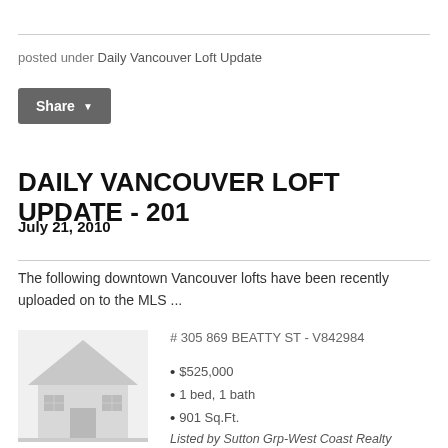posted under Daily Vancouver Loft Update
Share
DAILY VANCOUVER LOFT UPDATE - 201
July 21, 2010
The following downtown Vancouver lofts have been recently uploaded on to the MLS ...
[Figure (illustration): Placeholder house icon in light gray]
# 305 869 BEATTY ST - V842984
• $525,000
• 1 bed, 1 bath
• 901 Sq.Ft.
Listed by Sutton Grp-West Coast Realty